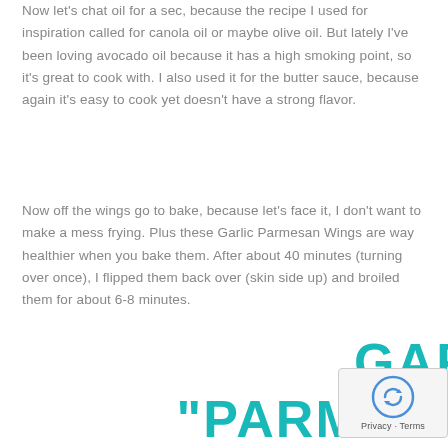Now let's chat oil for a sec, because the recipe I used for inspiration called for canola oil or maybe olive oil. But lately I've been loving avocado oil because it has a high smoking point, so it's great to cook with. I also used it for the butter sauce, because again it's easy to cook yet doesn't have a strong flavor.
Now off the wings go to bake, because let's face it, I don't want to make a mess frying. Plus these Garlic Parmesan Wings are way healthier when you bake them. After about 40 minutes (turning over once), I flipped them back over (skin side up) and broiled them for about 6-8 minutes.
GARLIC "PARMESAN" WINGS